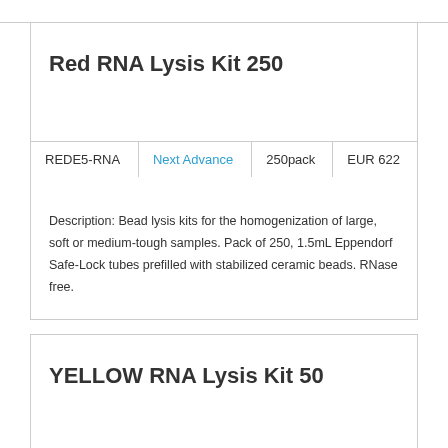Red RNA Lysis Kit 250
| REDE5-RNA | Next Advance | 250pack | EUR 622 |
Description: Bead lysis kits for the homogenization of large, soft or medium-tough samples. Pack of 250, 1.5mL Eppendorf Safe-Lock tubes prefilled with stabilized ceramic beads. RNase free.
YELLOW RNA Lysis Kit 50